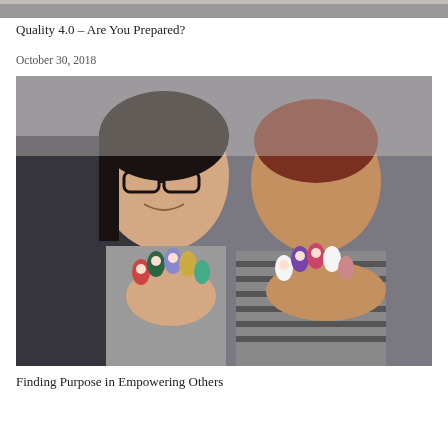[Figure (photo): Cropped top portion of an image, showing a grey/light colored background strip at the very top of the page]
Quality 4.0 – Are You Prepared?
October 30, 2018
[Figure (photo): Two women smiling and holding up their hands with colorful knitted finger puppets on their fingers. The woman on the left wears glasses and a grey turtleneck. The woman on the right wears a striped top.]
Finding Purpose in Empowering Others